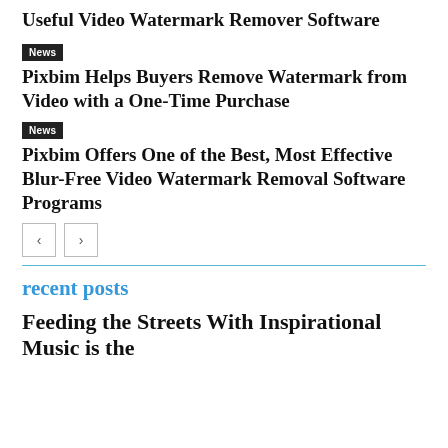Useful Video Watermark Remover Software
News
Pixbim Helps Buyers Remove Watermark from Video with a One-Time Purchase
News
Pixbim Offers One of the Best, Most Effective Blur-Free Video Watermark Removal Software Programs
[Figure (other): Pagination navigation buttons with left and right arrows]
recent posts
Feeding the Streets With Inspirational Music is the